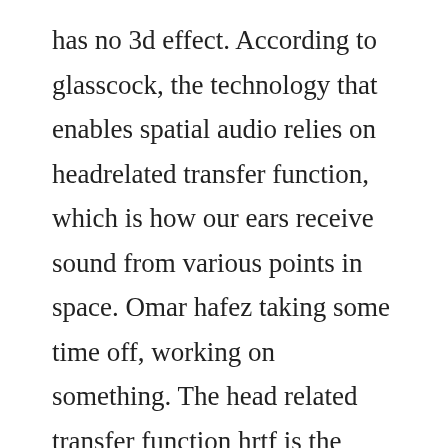has no 3d effect. According to glasscock, the technology that enables spatial audio relies on headrelated transfer function, which is how our ears receive sound from various points in space. Omar hafez taking some time off, working on something. The head related transfer function hrtf is the measure of how sound is changed by the direction from which it arrives, and by the shape of your body and ears as it travels to the ear drum. Find out information about head related transfer function. Hrtf headrelated transfer function and its in the web. When you see a spatial audio